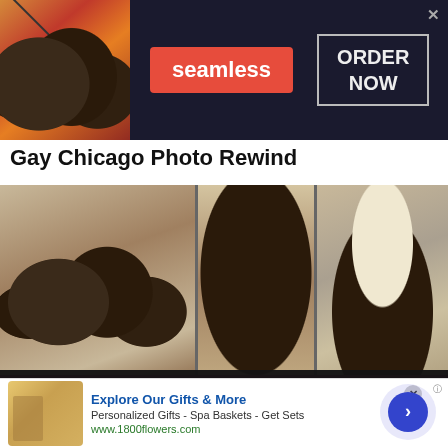[Figure (screenshot): Seamless food delivery advertisement banner with pizza image, red Seamless logo, and ORDER NOW button]
Gay Chicago Photo Rewind
[Figure (photo): Three vintage black-and-white/sepia photographs showing people at social events in Chicago's gay community]
[Figure (screenshot): Cookie consent overlay: 'We use cookies. Yes, we use cookies to ensure we give you the best experience using this website. By closing this box or clicking on the continue button, you agree to our terms of use and consent to the use of']
[Figure (screenshot): 1800flowers.com advertisement: Explore Our Gifts & More, Personalized Gifts - Spa Baskets - Get Sets, www.1800flowers.com]